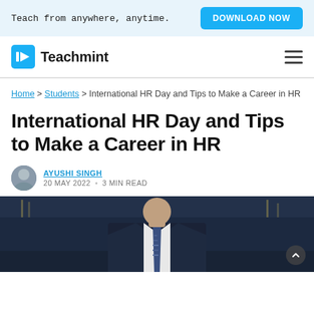Teach from anywhere, anytime. | DOWNLOAD NOW
[Figure (logo): Teachmint logo with blue book icon and hamburger menu]
Home > Students > International HR Day and Tips to Make a Career in HR
International HR Day and Tips to Make a Career in HR
AYUSHI SINGH — 20 MAY 2022 • 3 MIN READ
[Figure (photo): Photo of a man in a dark business suit with a tie, standing in a professional setting]